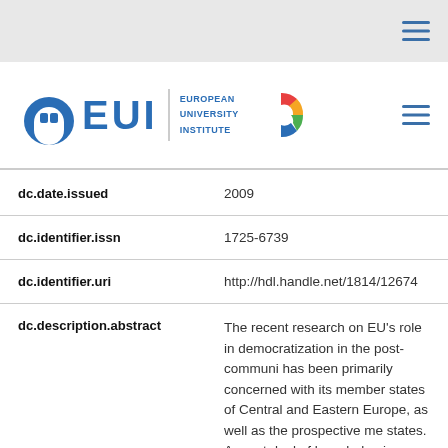[Figure (logo): European University Institute logo with EUI text and colorful C emblem]
| dc.date.issued | 2009 |
| dc.identifier.issn | 1725-6739 |
| dc.identifier.uri | http://hdl.handle.net/1814/12674 |
| dc.description.abstract | The recent research on EU's role in democratization in the post-communi has been primarily concerned with its member states of Central and Eastern Europe, as well as the prospective me states. A great deal of knowledge is n available on EU's impact on members prospective members, but little stays about EU's influence on democratic development in the neighborhood bey accession orbits. This paper makes a |